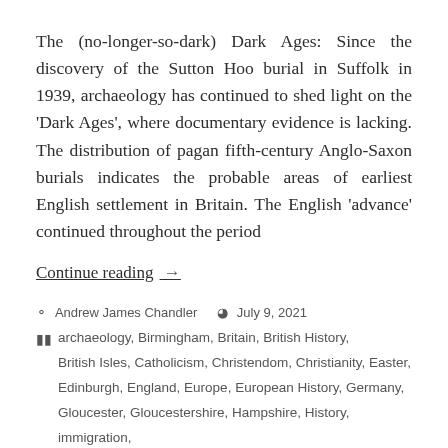The (no-longer-so-dark) Dark Ages: Since the discovery of the Sutton Hoo burial in Suffolk in 1939, archaeology has continued to shed light on the 'Dark Ages', where documentary evidence is lacking. The distribution of pagan fifth-century Anglo-Saxon burials indicates the probable areas of earliest English settlement in Britain. The English 'advance' continued throughout the period
Continue reading →
Andrew James Chandler   July 9, 2021
archaeology, Birmingham, Britain, British History, British Isles, Catholicism, Christendom, Christianity, Easter, Edinburgh, England, Europe, European History, Germany, Gloucester, Gloucestershire, Hampshire, History, immigration, Ireland, Iron & Steel, Kent, London, Midlands, migration, Romans, Rome, Scotland, Slave Trade, Slavery, Somerset,